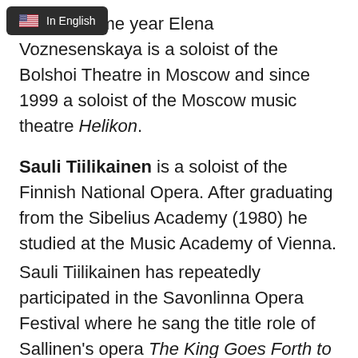[Figure (other): UI tooltip/dropdown showing a US flag icon and the text 'In English']
nce the same year Elena Voznesenskaya is a soloist of the Bolshoi Theatre in Moscow and since 1999 a soloist of the Moscow music theatre Helikon.
Sauli Tiilikainen is a soloist of the Finnish National Opera. After graduating from the Sibelius Academy (1980) he studied at the Music Academy of Vienna. Sauli Tiilikainen has repeatedly participated in the Savonlinna Opera Festival where he sang the title role of Sallinen's opera The King Goes Forth to France, and Papageno in Mozart's The Magic Flute. Sauli Tiilikainen has also sung the title role in the world premier of Werle's Lionardo at the Folk Opera in Stockholm, he participated as a soloist